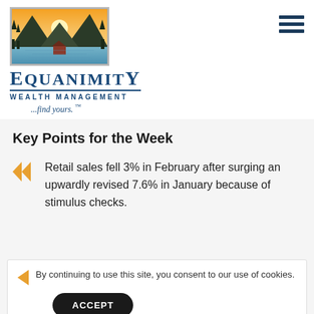[Figure (logo): Equanimity Wealth Management logo: landscape painting of mountains, water, and sunset with trees; company name 'EQUANIMITY WEALTH MANAGEMENT' with tagline '...find yours. TM']
Key Points for the Week
Retail sales fell 3% in February after surging an upwardly revised 7.6% in January because of stimulus checks.
By continuing to use this site, you consent to our use of cookies.